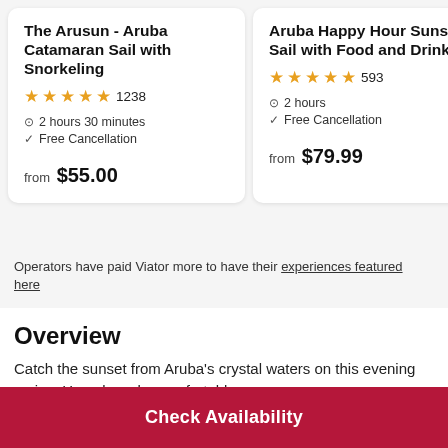The Arusun - Aruba Catamaran Sail with Snorkeling
★★★★★ 1238 · 2 hours 30 minutes · Free Cancellation · from $55.00
Aruba Happy Hour Sunset Sail with Food and Drinks
★★★★½ 593 · 2 hours · Free Cancellation · from $79.99
Operators have paid Viator more to have their experiences featured here
Overview
Catch the sunset from Aruba's crystal waters on this evening cruise. Hop aboard a comfortable open-
Check Availability